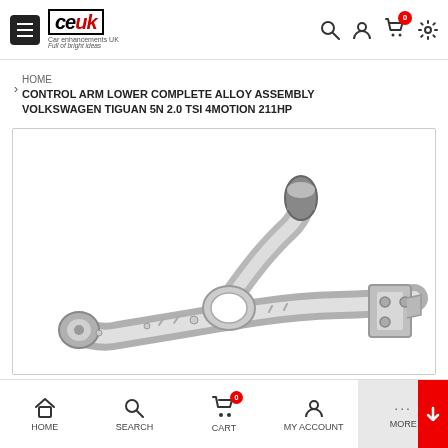Car Enhancements UK (CEUK) — website header with logo and navigation icons
HOME > CONTROL ARM LOWER COMPLETE ALLOY ASSEMBLY VOLKSWAGEN TIGUAN 5N 2.0 TSI 4MOTION 211HP
[Figure (photo): Product photo of a chrome/silver control arm lower complete alloy assembly for Volkswagen Tiguan 5N 2.0 TSI 4MOTION 211HP, shown on white background]
HOME   SEARCH   CART   MY ACCOUNT   MORE